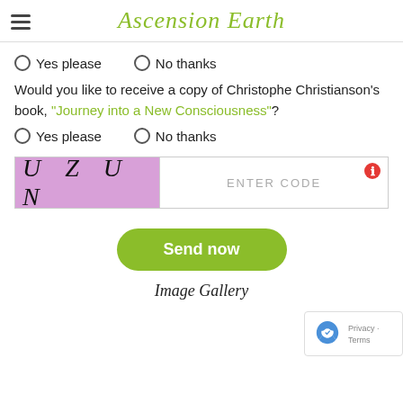Ascension Earth
Yes please   No thanks
Would you like to receive a copy of Christophe Christianson's book, "Journey into a New Consciousness"?
Yes please   No thanks
[Figure (other): CAPTCHA image showing letters U Z U N on a pink/purple background, with an ENTER CODE input field next to it with a red error icon]
Send now
[Figure (other): reCAPTCHA badge with Privacy and Terms text]
Image Gallery